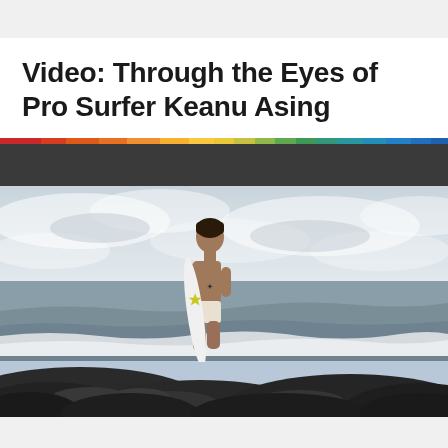Video: Through the Eyes of Pro Surfer Keanu Asing
[Figure (photo): A young male pro surfer standing on rocky shoreline holding a white surfboard with star logo and Fox logo, looking out at the ocean. Overcast sky in the background with waves crashing.]